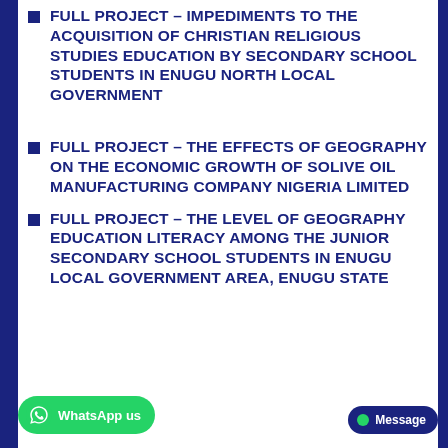FULL PROJECT – IMPEDIMENTS TO THE ACQUISITION OF CHRISTIAN RELIGIOUS STUDIES EDUCATION BY SECONDARY SCHOOL STUDENTS IN ENUGU NORTH LOCAL GOVERNMENT
FULL PROJECT – THE EFFECTS OF GEOGRAPHY ON THE ECONOMIC GROWTH OF SOLIVE OIL MANUFACTURING COMPANY NIGERIA LIMITED
FULL PROJECT – THE LEVEL OF GEOGRAPHY EDUCATION LITERACY AMONG THE JUNIOR SECONDARY SCHOOL STUDENTS IN ENUGU LOCAL GOVERNMENT AREA, ENUGU STATE